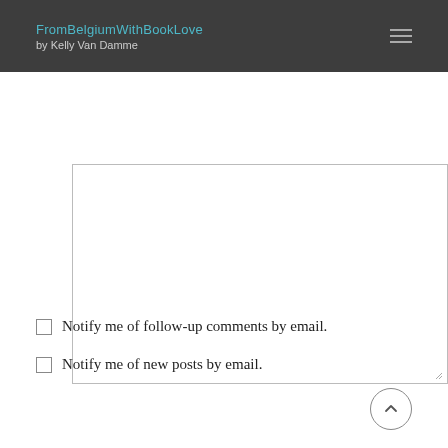FromBelgiumWithBookLove by Kelly Van Damme
[Figure (screenshot): Empty textarea comment input box with resize handle at bottom right]
Notify me of follow-up comments by email.
Notify me of new posts by email.
SUBMIT